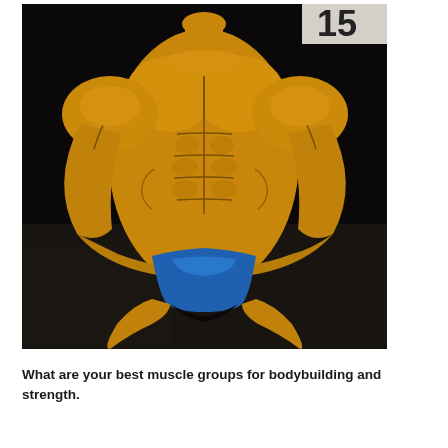[Figure (photo): A muscular male bodybuilder posing on stage in a classic most-muscular pose, wearing blue posing trunks. The competitor is heavily muscled with extremely defined musculature, tanned and oiled skin. The background is dark/black with some audience or staging visible in the lower background. A number placard is partially visible in the upper right corner.]
What are your best muscle groups for bodybuilding and strength.